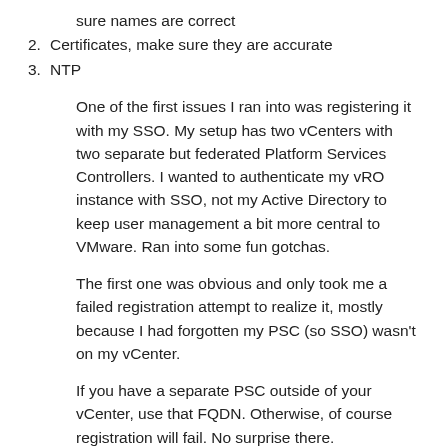sure names are correct
2. Certificates, make sure they are accurate
3. NTP
One of the first issues I ran into was registering it with my SSO. My setup has two vCenters with two separate but federated Platform Services Controllers. I wanted to authenticate my vRO instance with SSO, not my Active Directory to keep user management a bit more central to VMware. Ran into some fun gotchas.
The first one was obvious and only took me a failed registration attempt to realize it, mostly because I had forgotten my PSC (so SSO) wasn't on my vCenter.
If you have a separate PSC outside of your vCenter, use that FQDN. Otherwise, of course registration will fail. No surprise there.